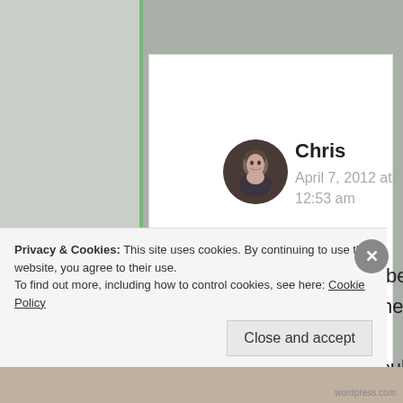Chris
April 7, 2012 at 12:53 am
Yes, the Bruce Weber calendars are on the *other* wall of my kitchen, so how would
Privacy & Cookies: This site uses cookies. By continuing to use this website, you agree to their use.
To find out more, including how to control cookies, see here: Cookie Policy
Close and accept